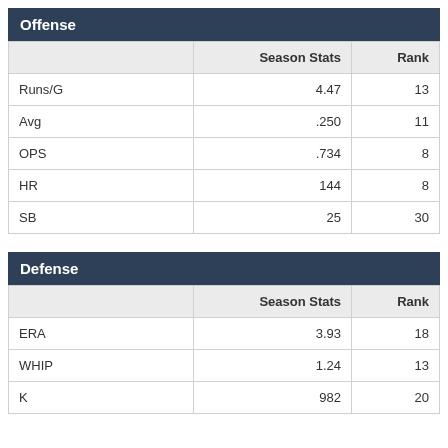Offense
|  | Season Stats | Rank |
| --- | --- | --- |
| Runs/G | 4.47 | 13 |
| Avg | .250 | 11 |
| OPS | .734 | 8 |
| HR | 144 | 8 |
| SB | 25 | 30 |
Defense
|  | Season Stats | Rank |
| --- | --- | --- |
| ERA | 3.93 | 18 |
| WHIP | 1.24 | 13 |
| K | 982 | 20 |